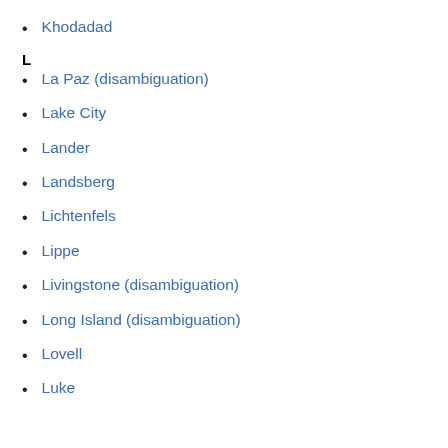Kho
Khodadad
L
La Paz (disambiguation)
Lake City
Lander
Landsberg
Lichtenfels
Lippe
Livingstone (disambiguation)
Long Island (disambiguation)
Lovell
Luke